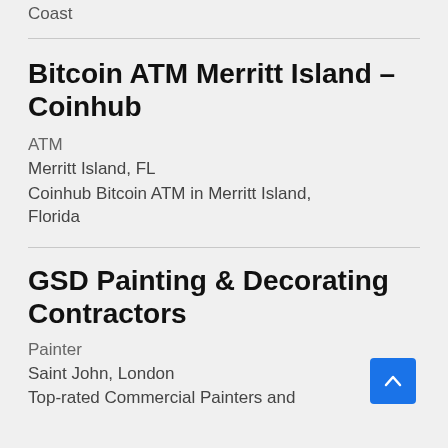Coast
Bitcoin ATM Merritt Island – Coinhub
ATM
Merritt Island, FL
Coinhub Bitcoin ATM in Merritt Island, Florida
GSD Painting & Decorating Contractors
Painter
Saint John, London
Top-rated Commercial Painters and